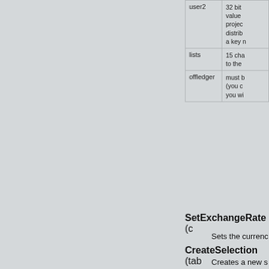| Parameter | Description |
| --- | --- |
| user2 | 32 bit
value 
project 
distrib
a key n |
| lists | 15 cha
to the  |
| offledger | must b
(you c
you wi |
SetExchangeRate (c...
Sets the currenc...
CreateSelection (tab...
Creates a new s... field name or a n... sort. The defaul...